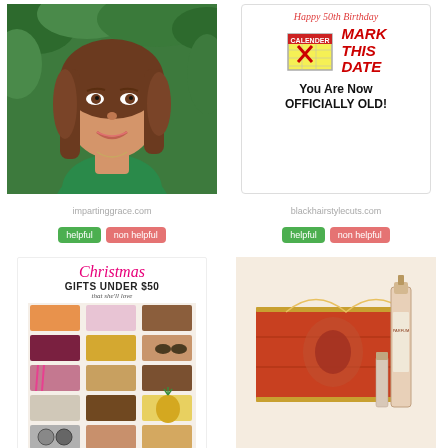[Figure (photo): Portrait photo of a smiling woman with brown shoulder-length hair wearing a green top, outdoors with green foliage background]
[Figure (illustration): Birthday card image: 'Happy 50th Birthday' text in red cursive at top, calendar icon with red X, bold red italic text 'MARK THIS DATE', black bold text 'You Are Now OFFICIALLY OLD!']
impartinggrace.com
blackhairstylecuts.com
helpful
non helpful
helpful
non helpful
[Figure (photo): Christmas gift guide image: 'Christmas GIFTS UNDER $50 that she'll love' with collage of gift items including bags, jewelry, accessories, sunglasses, watches, cosmetics on neutral background]
[Figure (photo): Perfume/cosmetics gift set in red and gold decorative box packaging with a bottle and tube]